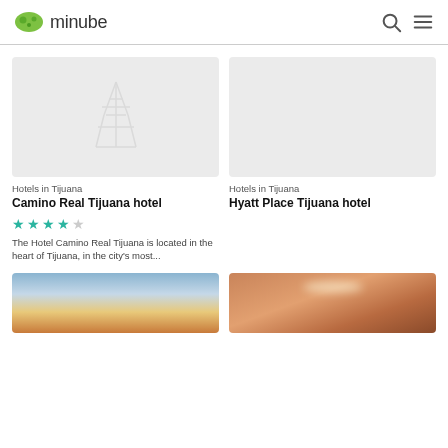minube
[Figure (photo): Placeholder image with Eiffel tower icon for Camino Real Tijuana hotel]
Hotels in Tijuana
Camino Real Tijuana hotel
★★★★☆
The Hotel Camino Real Tijuana is located in the heart of Tijuana, in the city's most...
[Figure (photo): Placeholder image for Hyatt Place Tijuana hotel]
Hotels in Tijuana
Hyatt Place Tijuana hotel
[Figure (photo): Outdoor sky/sunset photo for a hotel listing]
[Figure (photo): Interior hotel room/lobby photo]